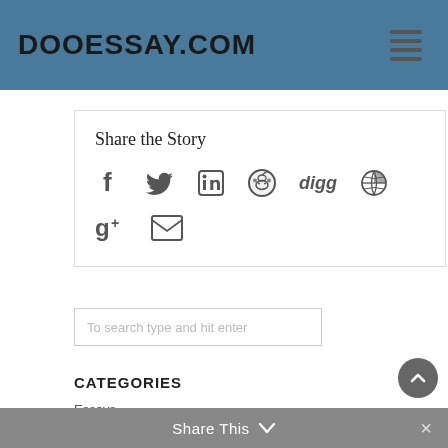DOOESSAY.COM
Share the Story
[Figure (infographic): Social sharing icons: Facebook, Twitter, LinkedIn, Reddit, Digg, globe/share icon, Google+, email/envelope icon]
To search type and hit enter
CATEGORIES
Essays
Share This